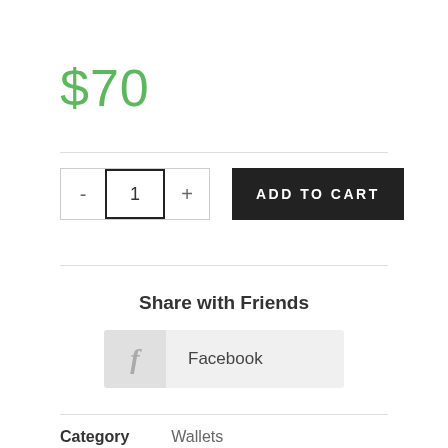$70
- 1 +  ADD TO CART
Share with Friends
Facebook
Category  Wallets